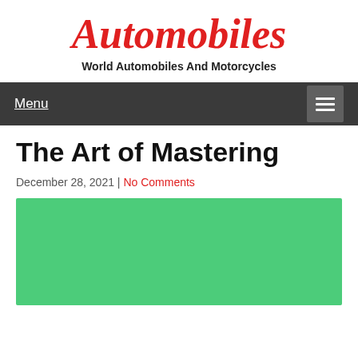Automobiles
World Automobiles And Motorcycles
Menu
The Art of Mastering
December 28, 2021 | No Comments
[Figure (photo): Green placeholder image block at bottom of page]